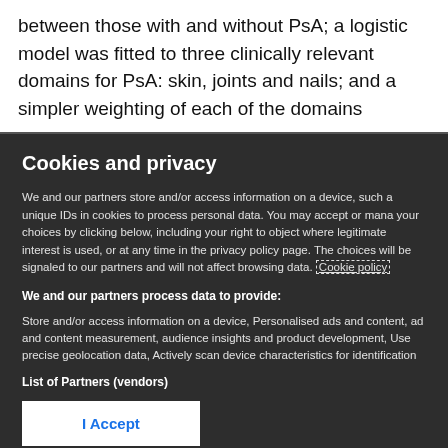between those with and without PsA; a logistic model was fitted to three clinically relevant domains for PsA: skin, joints and nails; and a simpler weighting of each of the domains
Cookies and privacy
We and our partners store and/or access information on a device, such as unique IDs in cookies to process personal data. You may accept or manage your choices by clicking below, including your right to object where legitimate interest is used, or at any time in the privacy policy page. These choices will be signaled to our partners and will not affect browsing data. Cookie policy
We and our partners process data to provide:
Store and/or access information on a device, Personalised ads and content, ad and content measurement, audience insights and product development, Use precise geolocation data, Actively scan device characteristics for identification
List of Partners (vendors)
I Accept